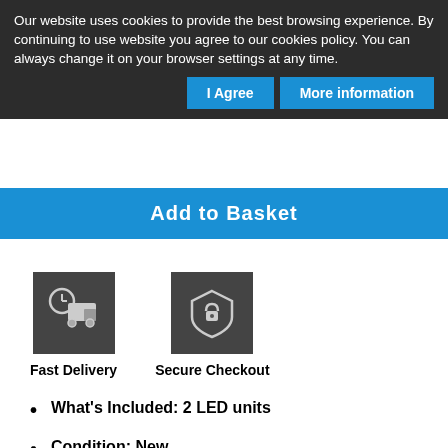Our website uses cookies to provide the best browsing experience. By continuing to use website you agree to our cookies policy. You can always change it on your browser settings at any time.
I Agree
More information
Add to Basket
[Figure (illustration): Fast delivery truck icon on dark background]
[Figure (illustration): Secure checkout shield/lock icon on dark background]
Fast Delivery   Secure Checkout
What's Included: 2 LED units
Condition: New
Warranty: 1 Year
Manufacturer: Xenons4U
VAG part numbers: 5NA943021
Fit: Audi Q3 RSQ3 8U
Please state Left and Right side